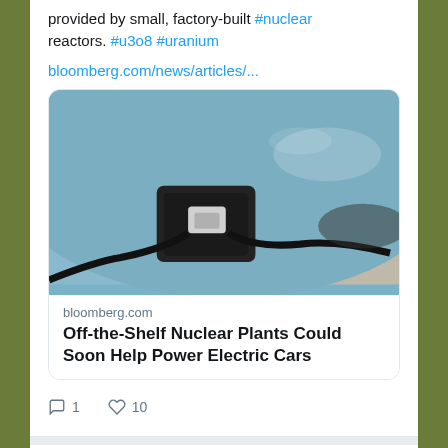provided by small, factory-built #nuclear reactors. #u3o8 #uranium
bloomberg.com/news/articles/...
[Figure (photo): Electric car charging port with a charging cable plugged in, showing a blue/silver car and a parking lot background]
bloomberg.com
Off-the-Shelf Nuclear Plants Could Soon Help Power Electric Cars
1 comment · 10 likes
U3O8 C... @U3O8... · Jan 4, 2018
2017 was an important year for #uranium and the future of #CleanEnergy. Our CEO